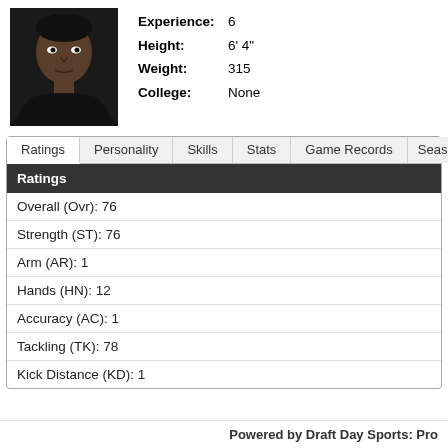[Figure (photo): Headshot photo of a football player wearing a black shirt, dark background]
Experience: 6
Height: 6' 4"
Weight: 315
College: None
Ratings | Personality | Skills | Stats | Game Records | Season
Ratings
Overall (Ovr): 76
Strength (ST): 76
Arm (AR): 1
Hands (HN): 12
Accuracy (AC): 1
Tackling (TK): 78
Kick Distance (KD): 1
Powered by Draft Day Sports: Pro